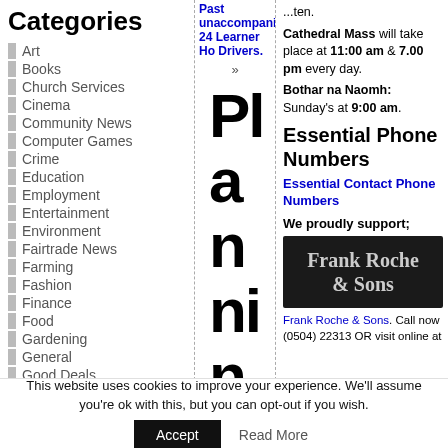Categories
Art
Books
Church Services
Cinema
Community News
Computer Games
Crime
Education
Employment
Entertainment
Environment
Fairtrade News
Farming
Fashion
Finance
Food
Gardening
General
Good Deals
Pl an n ni n g A
Past unaccompanied... 24 Learner Ho Drivers. »
Cathedral Mass will take place at 11:00 am & 7.00 pm every day.
Bothar na Naomh: Sunday's at 9:00 am.
Essential Phone Numbers
Essential Contact Phone Numbers
We proudly support;
[Figure (logo): Frank Roche & Sons logo — dark background with light text]
Frank Roche & Sons. Call now (0504) 22313 OR visit online at
This website uses cookies to improve your experience. We'll assume you're ok with this, but you can opt-out if you wish.